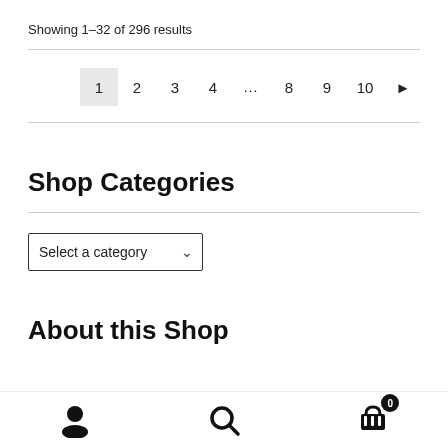Showing 1–32 of 296 results
Pagination: 1 (active), 2, 3, 4, ..., 8, 9, 10, next arrow
Shop Categories
Select a category (dropdown)
About this Shop